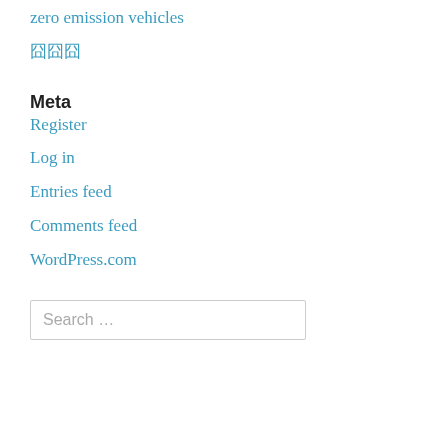zero emission vehicles
囧囧囧
Meta
Register
Log in
Entries feed
Comments feed
WordPress.com
Search …